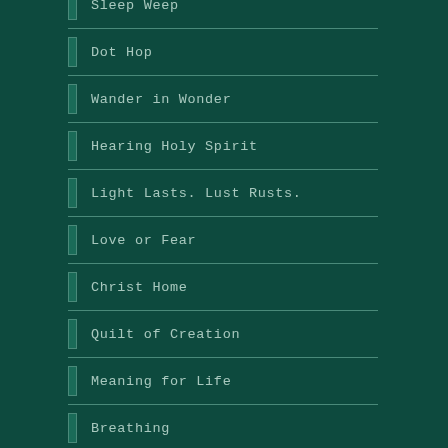Sleep Weep
Dot Hop
Wander in Wonder
Hearing Holy Spirit
Light Lasts. Lust Rusts.
Love or Fear
Christ Home
Quilt of Creation
Meaning for Life
Breathing